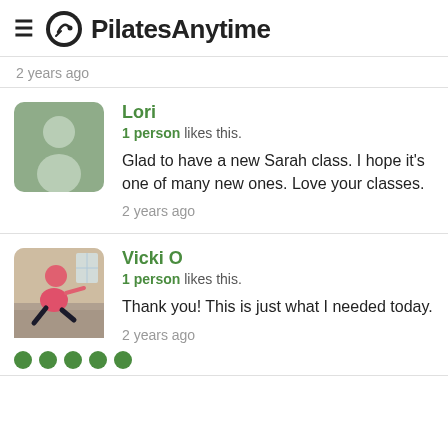PilatesAnytime
2 years ago
Lori
1 person likes this.
Glad to have a new Sarah class.  I hope it's one of many new ones.  Love your classes.
2 years ago
Vicki O
1 person likes this.
Thank you!  This is just what I needed today.
2 years ago